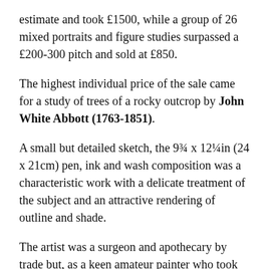estimate and took £1500, while a group of 26 mixed portraits and figure studies surpassed a £200-300 pitch and sold at £850.
The highest individual price of the sale came for a study of trees of a rocky outcrop by John White Abbott (1763-1851).
A small but detailed sketch, the 9¾ x 12¼in (24 x 21cm) pen, ink and wash composition was a characteristic work with a delicate treatment of the subject and an attractive rendering of outline and shade.
The artist was a surgeon and apothecary by trade but, as a keen amateur painter who took lessons from his friend Francis Towne, he became a notable artist in his own right.
Although he reputedly never sold a picture, his works received some acclaim and he became an honorary member of the Royal Academy of Art.